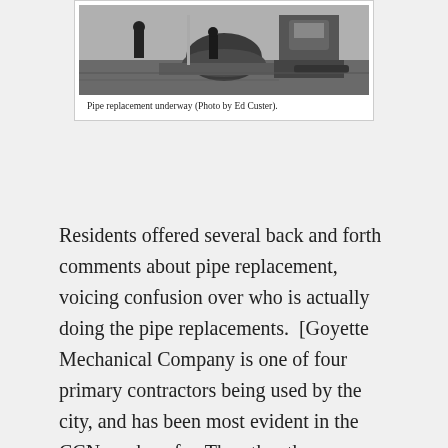[Figure (photo): Black and white photo of pipe replacement work underway, showing workers and construction equipment (excavator) near a large tree root ball or shrub.]
Pipe replacement underway (Photo by Ed Custer).
Residents offered several back and forth comments about pipe replacement, voicing confusion over who is actually doing the pipe replacements.  [Goyette Mechanical Company is one of four primary contractors being used by the city, and has been most evident in the CCN work so far. The other three contractors are Lang Construction, W.T. Stevens, and Waldorf and Sons, Inc. The overall pipe replacement project is described by Harold C.